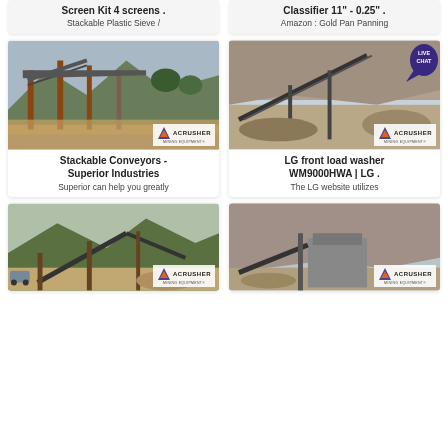[Figure (screenshot): Top partial card: Screen Kit 4 screens - Stackable Plastic Sieve]
[Figure (screenshot): Top partial card: Classifier 11 - 0.25 - Amazon: Gold Pan Panning]
[Figure (photo): ACRUSHER mining equipment photo: Stackable Conveyors - Superior Industries]
Stackable Conveyors - Superior Industries
Superior can help you greatly
[Figure (photo): ACRUSHER mining equipment photo with LIVE CHAT bubble: LG front load washer WM9000HWA | LG]
LG front load washer WM9000HWA | LG .
The LG website utilizes
[Figure (photo): ACRUSHER mining equipment photo: bottom left conveyor scene]
[Figure (photo): ACRUSHER mining equipment photo: bottom right crusher scene]